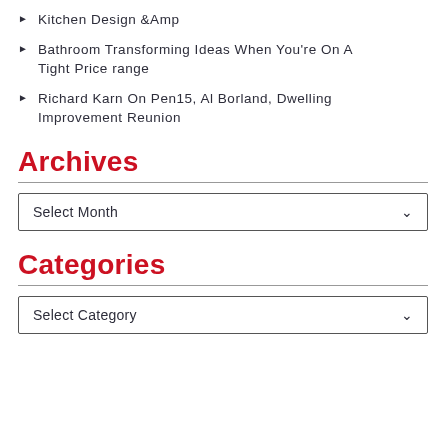Kitchen Design &Amp
Bathroom Transforming Ideas When You're On A Tight Price range
Richard Karn On Pen15, Al Borland, Dwelling Improvement Reunion
Archives
Select Month
Categories
Select Category